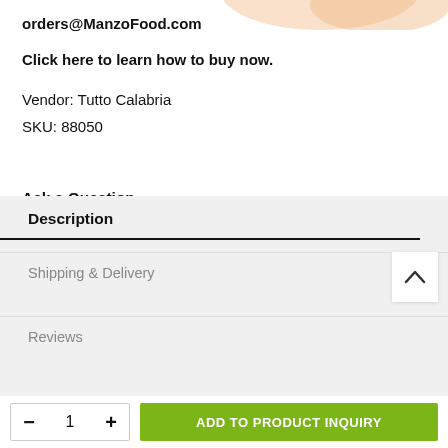orders@ManzoFood.com
Click here to learn how to buy now.
Vendor: Tutto Calabria
SKU: 88050
Ask a Question
Description
Shipping & Delivery
Reviews
− 1 + ADD TO PRODUCT INQUIRY